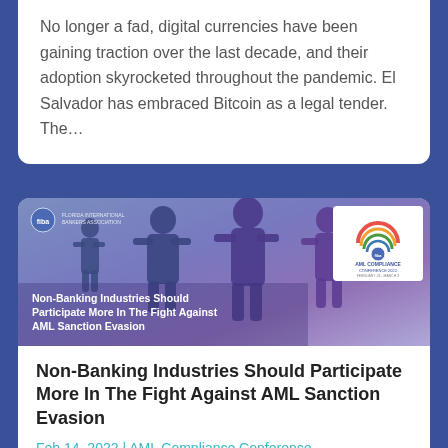No longer a fad, digital currencies have been gaining traction over the last decade, and their adoption skyrocketed throughout the pandemic. El Salvador has embraced Bitcoin as a legal tender. The…
[Figure (illustration): Banner image for article about Non-Banking Industries and AML Sanction Evasion. Shows dark silhouette figures on a blue-purple gradient background with FIBA logo and AML Compliance Conference badge.]
Non-Banking Industries Should Participate More In The Fight Against AML Sanction Evasion
Feb 14, 2022 | AML Compliance Conference, Fiba Blog